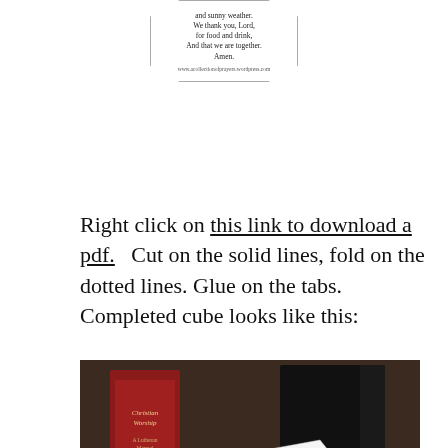[Figure (illustration): Octagonal card with prayer text and website URL www.acollectionofprayers.wordpress.com]
Right click on this link to download a pdf.   Cut on the solid lines, fold on the dotted lines. Glue on the tabs. Completed cube looks like this:
[Figure (photo): Photo of a completed prayer cube (white paper cube with printed prayers on each face) sitting in front of books including one titled 'Christian Worship: A Lutheran Manual']